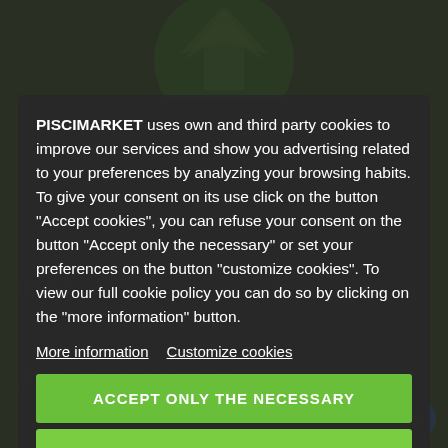[Figure (screenshot): Background website screenshot showing Piscimarket green logo at top, a product reference number, and bottom text '8 Other Products In The Same Category:' with a blue scroll-to-top button]
PISCIMARKET uses own and third party cookies to improve our services and show you advertising related to your preferences by analyzing your browsing habits. To give your consent on its use click on the button "Accept cookies", you can refuse your consent on the button "Accept only the necessary" or set your preferences on the button "customize cookies". To view our full cookie policy you can do so by clicking on the "more information" button.
More information   Customize cookies
ACCEPT ONLY THE NECESSARY
ACCEPT COOKIES